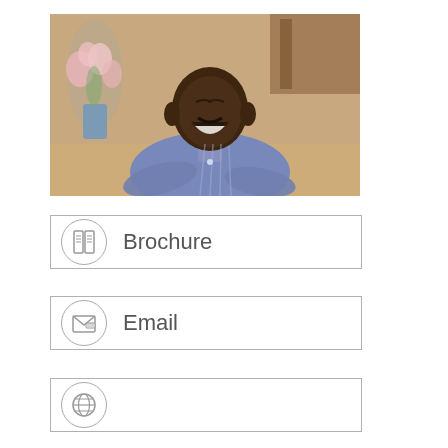[Figure (photo): Smiling elderly Black man in a blue striped shirt, seated indoors with floral decorations and warm wooden decor in the background.]
Brochure
Email